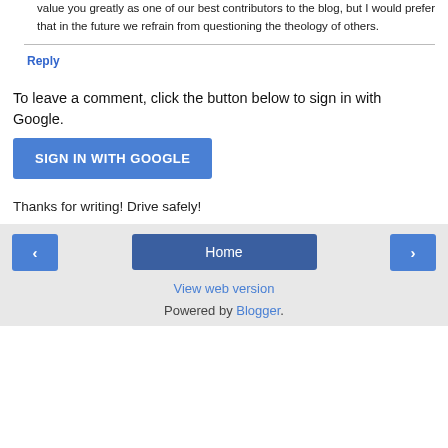value you greatly as one of our best contributors to the blog, but I would prefer that in the future we refrain from questioning the theology of others.
Reply
To leave a comment, click the button below to sign in with Google.
SIGN IN WITH GOOGLE
Thanks for writing! Drive safely!
< Home > View web version Powered by Blogger.